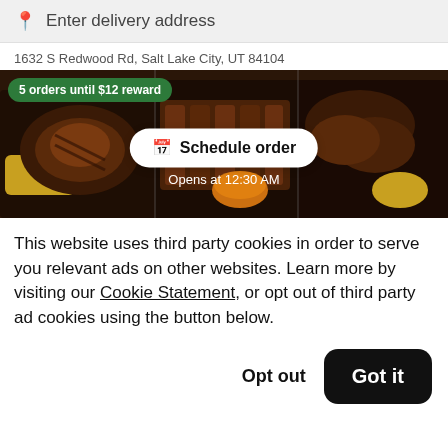Enter delivery address
1632 S Redwood Rd, Salt Lake City, UT 84104
[Figure (photo): BBQ food photo showing trays of grilled meats, ribs, corn, and wings. Overlay shows green badge '5 orders until $12 reward', a white pill button 'Schedule order', and text 'Opens at 12:30 AM'.]
This website uses third party cookies in order to serve you relevant ads on other websites. Learn more by visiting our Cookie Statement, or opt out of third party ad cookies using the button below.
Opt out
Got it